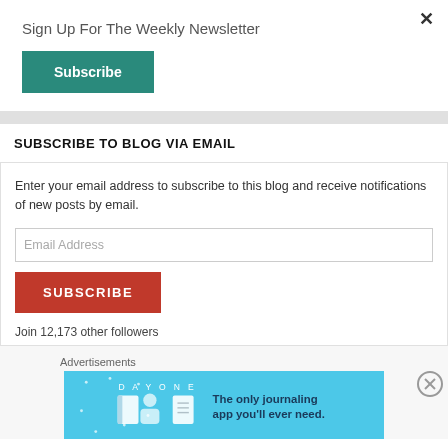Sign Up For The Weekly Newsletter
Subscribe
SUBSCRIBE TO BLOG VIA EMAIL
Enter your email address to subscribe to this blog and receive notifications of new posts by email.
Email Address
SUBSCRIBE
Join 12,173 other followers
Advertisements
[Figure (illustration): Day One journaling app advertisement banner with blue background, app icons, and tagline 'The only journaling app you'll ever need.']